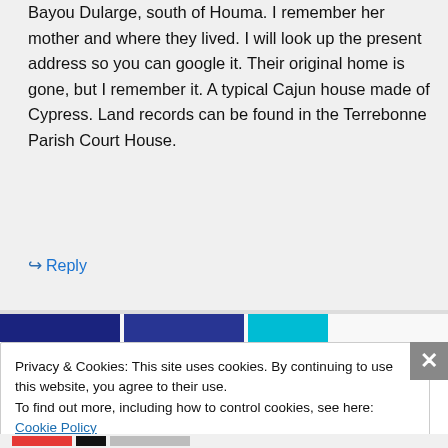Bayou Dularge, south of Houma. I remember her mother and where they lived. I will look up the present address so you can google it. Their original home is gone, but I remember it. A typical Cajun house made of Cypress. Land records can be found in the Terrebonne Parish Court House.
↪ Reply
Privacy & Cookies: This site uses cookies. By continuing to use this website, you agree to their use.
To find out more, including how to control cookies, see here: Cookie Policy
Close and accept